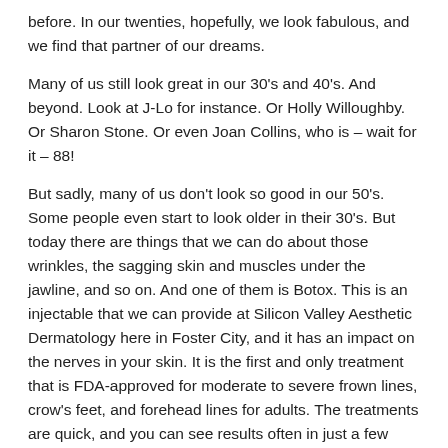before. In our twenties, hopefully, we look fabulous, and we find that partner of our dreams.
Many of us still look great in our 30's and 40's. And beyond. Look at J-Lo for instance. Or Holly Willoughby. Or Sharon Stone. Or even Joan Collins, who is – wait for it – 88!
But sadly, many of us don't look so good in our 50's. Some people even start to look older in their 30's. But today there are things that we can do about those wrinkles, the sagging skin and muscles under the jawline, and so on. And one of them is Botox. This is an injectable that we can provide at Silicon Valley Aesthetic Dermatology here in Foster City, and it has an impact on the nerves in your skin. It is the first and only treatment that is FDA-approved for moderate to severe frown lines, crow's feet, and forehead lines for adults. The treatments are quick, and you can see results often in just a few days.
Imagine That!
Just imagine that! Today you are 50, and you look it. This time next